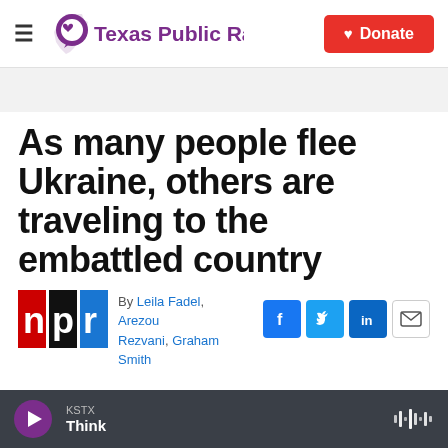Texas Public Radio | Donate
As many people flee Ukraine, others are traveling to the embattled country
By Leila Fadel, Arezou Rezvani, Graham Smith
[Figure (logo): NPR logo — red, black and blue rectangles with letters n, p, r]
[Figure (infographic): Social sharing icons: Facebook, Twitter, LinkedIn, Email]
KSTX Think